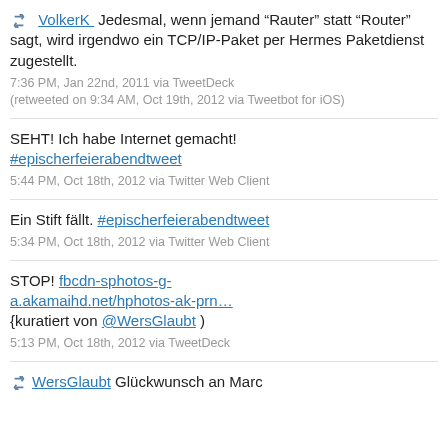[retweet icon] VolkerK  Jedesmal, wenn jemand "Rauter" statt "Router" sagt, wird irgendwo ein TCP/IP-Paket per Hermes Paketdienst zugestellt.
7:36 PM, Jan 22nd, 2011 via TweetDeck (retweeted on 9:34 AM, Oct 19th, 2012 via Tweetbot for iOS)
SEHT! Ich habe Internet gemacht! #epischerfeierabendtweet
5:44 PM, Oct 18th, 2012 via Twitter Web Client
Ein Stift fällt. #epischerfeierabendtweet
5:34 PM, Oct 18th, 2012 via Twitter Web Client
STOP! fbcdn-sphotos-g-a.akamaihd.net/hphotos-ak-prn… {kuratiert von @WersGlaubt )
5:13 PM, Oct 18th, 2012 via TweetDeck
[retweet icon] WersGlaubt Glückwunsch an Marc